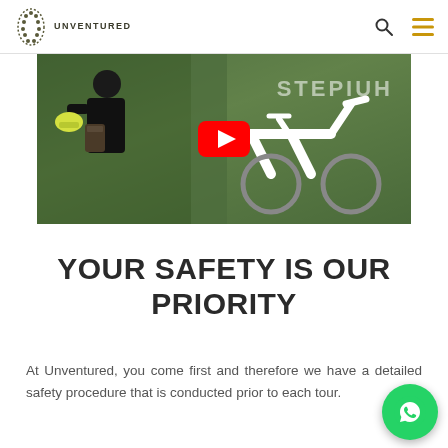UNVENTURED
[Figure (screenshot): YouTube video thumbnail showing a person with a bicycle helmet and bag next to a white bicycle frame, with green foliage in background. A red YouTube play button is overlaid in the center. Partially visible text reads 'STEP' in the upper right area.]
YOUR SAFETY IS OUR PRIORITY
At Unventured, you come first and therefore we have a detailed safety procedure that is conducted prior to each tour.